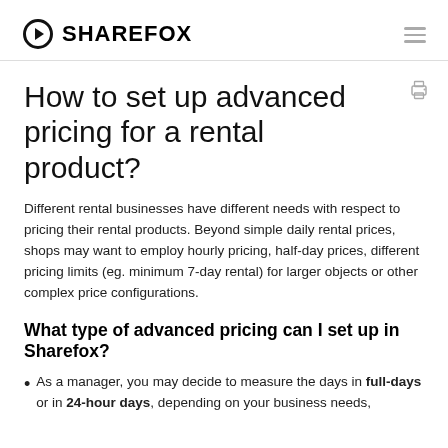SHAREFOX
How to set up advanced pricing for a rental product?
Different rental businesses have different needs with respect to pricing their rental products. Beyond simple daily rental prices, shops may want to employ hourly pricing, half-day prices, different pricing limits (eg. minimum 7-day rental) for larger objects or other complex price configurations.
What type of advanced pricing can I set up in Sharefox?
As a manager, you may decide to measure the days in full-days or in 24-hour days, depending on your business needs,